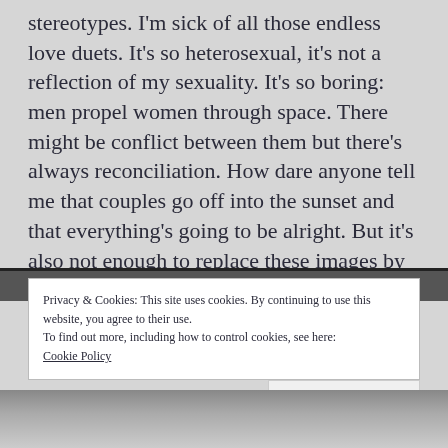stereotypes. I'm sick of all those endless love duets. It's so heterosexual, it's not a reflection of my sexuality. It's so boring: men propel women through space. There might be conflict between them but there's always reconciliation. How dare anyone tell me that couples go off into the sunset and that everything's going to be alright. But it's also not enough to replace these images by happy gay couples.' (GA, 1987)
[Figure (photo): Black and white photograph strip, partially visible]
Privacy & Cookies: This site uses cookies. By continuing to use this website, you agree to their use.
To find out more, including how to control cookies, see here:
Cookie Policy
Close and accept
[Figure (photo): Black and white photograph at the bottom of the page, partially visible]